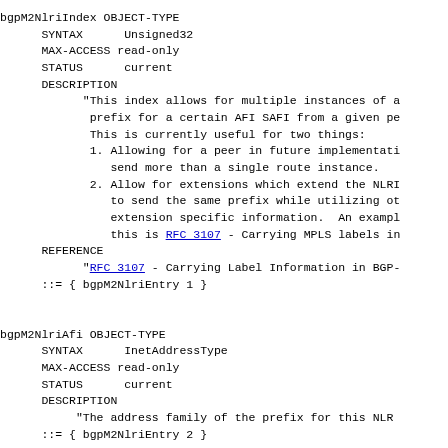bgpM2NlriIndex OBJECT-TYPE
      SYNTAX      Unsigned32
      MAX-ACCESS read-only
      STATUS      current
      DESCRIPTION
            "This index allows for multiple instances of a
             prefix for a certain AFI SAFI from a given pe
             This is currently useful for two things:
             1. Allowing for a peer in future implementati
                send more than a single route instance.
             2. Allow for extensions which extend the NLRI
                to send the same prefix while utilizing ot
                extension specific information.  An exampl
                this is RFC 3107 - Carrying MPLS labels in
      REFERENCE
            "RFC 3107 - Carrying Label Information in BGP-
      ::= { bgpM2NlriEntry 1 }
bgpM2NlriAfi OBJECT-TYPE
      SYNTAX      InetAddressType
      MAX-ACCESS read-only
      STATUS      current
      DESCRIPTION
           "The address family of the prefix for this NLR
      ::= { bgpM2NlriEntry 2 }